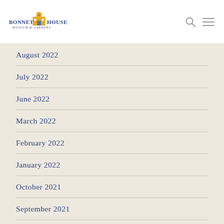[Figure (logo): Bonnet House Museum & Gardens logo with yellow building and blue text]
August 2022
July 2022
June 2022
March 2022
February 2022
January 2022
October 2021
September 2021
August 2021